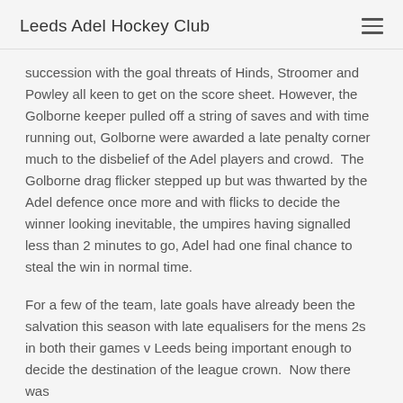Leeds Adel Hockey Club
succession with the goal threats of Hinds, Stroomer and Powley all keen to get on the score sheet. However, the Golborne keeper pulled off a string of saves and with time running out, Golborne were awarded a late penalty corner much to the disbelief of the Adel players and crowd.  The Golborne drag flicker stepped up but was thwarted by the Adel defence once more and with flicks to decide the winner looking inevitable, the umpires having signalled less than 2 minutes to go, Adel had one final chance to steal the win in normal time.
For a few of the team, late goals have already been the salvation this season with late equalisers for the mens 2s in both their games v Leeds being important enough to decide the destination of the league crown.  Now there was